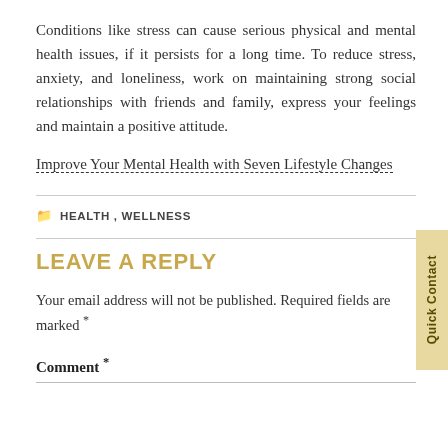Conditions like stress can cause serious physical and mental health issues, if it persists for a long time. To reduce stress, anxiety, and loneliness, work on maintaining strong social relationships with friends and family, express your feelings and maintain a positive attitude.
Improve Your Mental Health with Seven Lifestyle Changes
HEALTH , WELLNESS
LEAVE A REPLY
Your email address will not be published. Required fields are marked *
Comment *